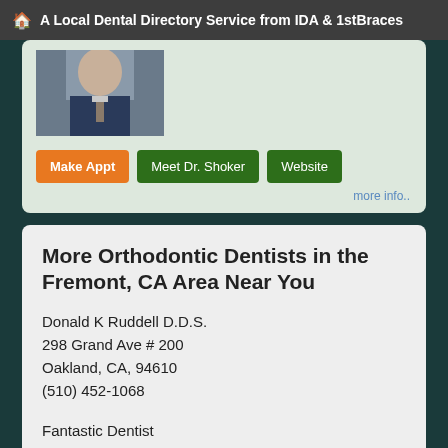A Local Dental Directory Service from IDA & 1stBraces
[Figure (photo): Partial photo of a male doctor/dentist wearing a suit and tie, cropped at top]
Make Appt   Meet Dr. Shoker   Website
more info..
More Orthodontic Dentists in the Fremont, CA Area Near You
Donald K Ruddell D.D.S.
298 Grand Ave # 200
Oakland, CA, 94610
(510) 452-1068
Fantastic Dentist
3147 Telegraph Avenue q
Oakland, CA, 94609